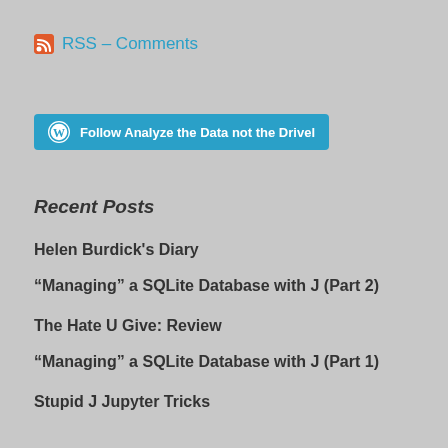RSS – Comments
[Figure (other): Follow Analyze the Data not the Drivel WordPress follow button]
Recent Posts
Helen Burdick's Diary
“Managing” a SQLite Database with J (Part 2)
The Hate U Give: Review
“Managing” a SQLite Database with J (Part 1)
Stupid J Jupyter Tricks